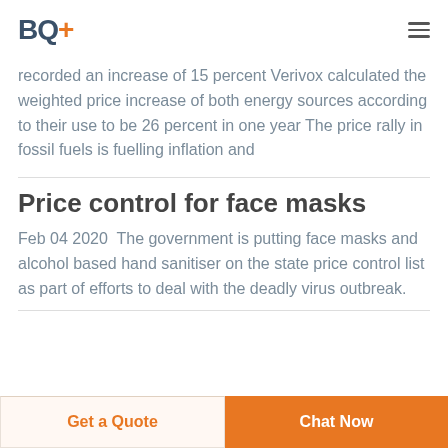BQ+
recorded an increase of 15 percent Verivox calculated the weighted price increase of both energy sources according to their use to be 26 percent in one year The price rally in fossil fuels is fuelling inflation and
Price control for face masks
Feb 04 2020  The government is putting face masks and alcohol based hand sanitiser on the state price control list as part of efforts to deal with the deadly virus outbreak.